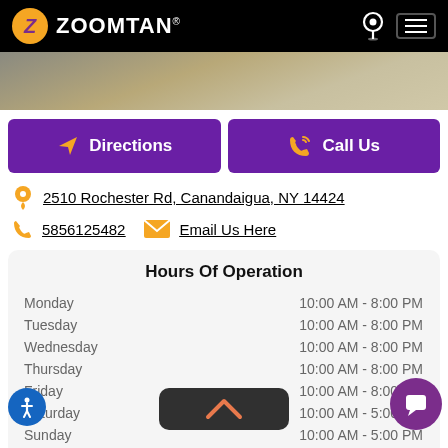[Figure (logo): ZoomTan logo with orange circle containing Z and white ZOOMTAN text on black header bar]
[Figure (photo): Hero image strip showing parking lot / exterior scene]
Directions
Call Us
2510 Rochester Rd, Canandaigua, NY 14424
5856125482   Email Us Here
Hours Of Operation
| Day | Hours |
| --- | --- |
| Monday | 10:00 AM - 8:00 PM |
| Tuesday | 10:00 AM - 8:00 PM |
| Wednesday | 10:00 AM - 8:00 PM |
| Thursday | 10:00 AM - 8:00 PM |
| Friday | 10:00 AM - 8:00 PM |
| Saturday | 10:00 AM - 5:00 PM |
| Sunday | 10:00 AM - 5:00 PM |